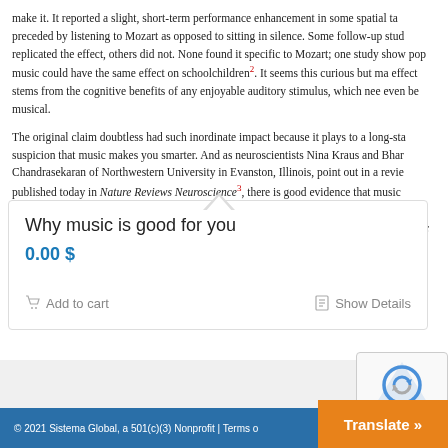make it. It reported a slight, short-term performance enhancement in some spatial tasks preceded by listening to Mozart as opposed to sitting in silence. Some follow-up studies replicated the effect, others did not. None found it specific to Mozart; one study showed that pop music could have the same effect on schoolchildren². It seems this curious but marginal effect stems from the cognitive benefits of any enjoyable auditory stimulus, which need not even be musical.
The original claim doubtless had such inordinate impact because it plays to a long-standing suspicion that music makes you smarter. And as neuroscientists Nina Kraus and Bharath Chandrasekaran of Northwestern University in Evanston, Illinois, point out in a review published today in Nature Reviews Neuroscience³, there is good evidence that music training reshapes the brain in ways that convey broader cognitive benefits. It can, they say, lead to “changes throughout the auditory system that prime musicians for listening challenges beyond music processing”
Why music is good for you
0.00 $
Add to cart
Show Details
© 2021 Sistema Global, a 501(c)(3) Nonprofit | Terms o...
Translate »